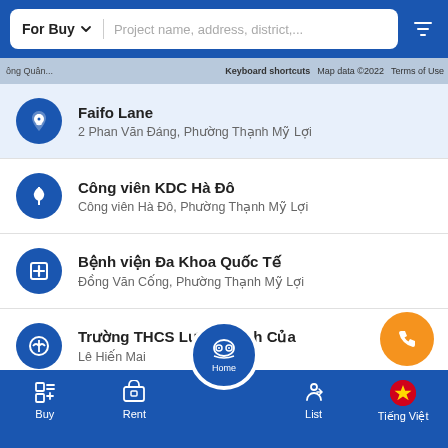[Figure (screenshot): Mobile app screenshot showing a property search interface with 'For Buy' selector, search bar placeholder, map strip, and list of nearby places]
Faifo Lane
2 Phan Văn Đáng, Phường Thạnh Mỹ Lợi
Công viên KDC Hà Đô
Công viên Hà Đô, Phường Thạnh Mỹ Lợi
Bệnh viện Đa Khoa Quốc Tế
Đồng Văn Cống, Phường Thạnh Mỹ Lợi
Trường THCS Lương Định Của
Lê Hiến Mai